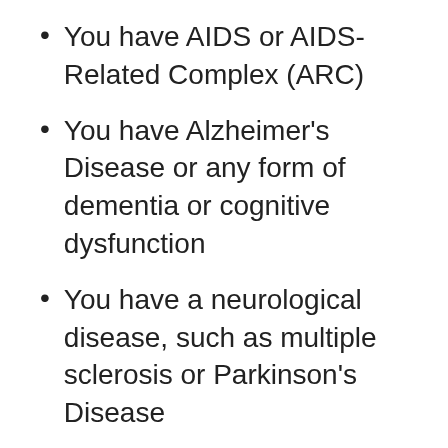You have AIDS or AIDS-Related Complex (ARC)
You have Alzheimer’s Disease or any form of dementia or cognitive dysfunction
You have a neurological disease, such as multiple sclerosis or Parkinson’s Disease
You had a stroke within the past year to two years or have a history of strokes